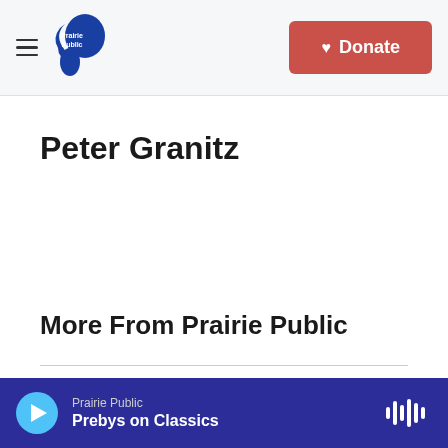Prairie Public — Donate
Peter Granitz
More From Prairie Public
[Figure (logo): FMWF Chamber Foundation logo with blue interlocking squares and text IE CHAMBI RGO MOORHEAD WEST FARG FOUNDATION]
Local News
Good Jobs Challenge grant awarded to FMWF Chamber Foundation
Prairie Public — Prebys on Classics (player bar)